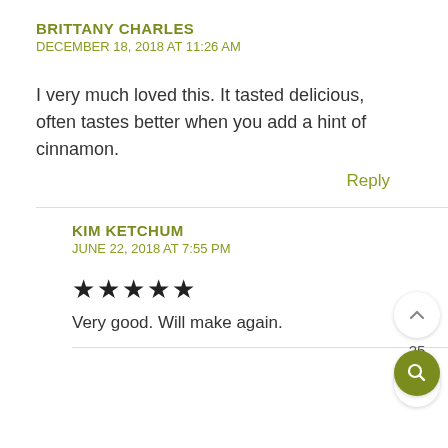BRITTANY CHARLES
DECEMBER 18, 2018 AT 11:26 AM
I very much loved this. It tasted delicious, often tastes better when you add a hint of cinnamon.
Reply
KIM KETCHUM
JUNE 22, 2018 AT 7:55 PM
★★★★★
Very good. Will make again.